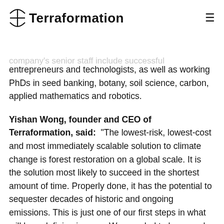Terraformation
and CEO Yishan Wong, immediately CEO+CTO+HR and company's senior staff include successful entrepreneurs and technologists, as well as working PhDs in seed banking, botany, soil science, carbon, applied mathematics and robotics.
Yishan Wong, founder and CEO of Terraformation, said: “The lowest-risk, lowest-cost and most immediately scalable solution to climate change is forest restoration on a global scale. It is the solution most likely to succeed in the shortest amount of time. Properly done, it has the potential to sequester decades of historic and ongoing emissions. This is just one of our first steps in what will be a defining journey. We are glad to have such ambitious, visionary investors on board with us.”
Terraformation partners with organizations to support them with tools and training to initiate and sustain